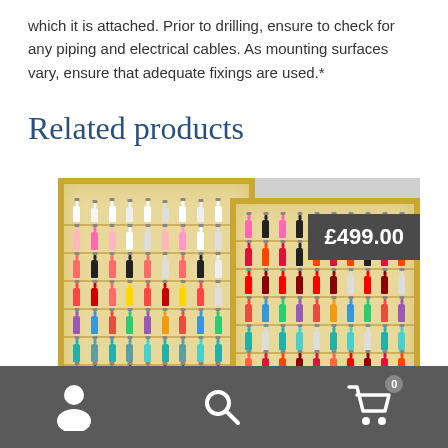which it is attached. Prior to drilling, ensure to check for any piping and electrical cables. As mounting surfaces vary, ensure that adequate fixings are used.*
Related products
[Figure (photo): Two gold-framed nail polish display shelves holding many colorful nail polish bottles arranged in rows, with a price tag showing £499.00]
Navigation bar with person icon, search icon, and cart icon with badge showing 0